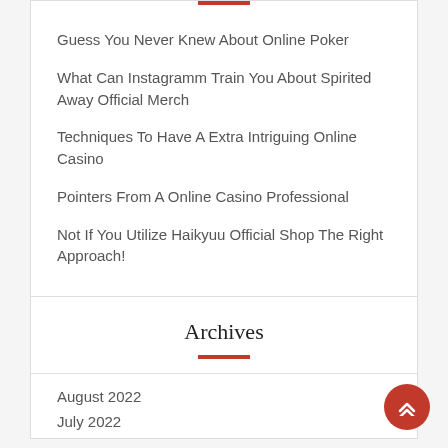Guess You Never Knew About Online Poker
What Can Instagramm Train You About Spirited Away Official Merch
Techniques To Have A Extra Intriguing Online Casino
Pointers From A Online Casino Professional
Not If You Utilize Haikyuu Official Shop The Right Approach!
Archives
August 2022
July 2022